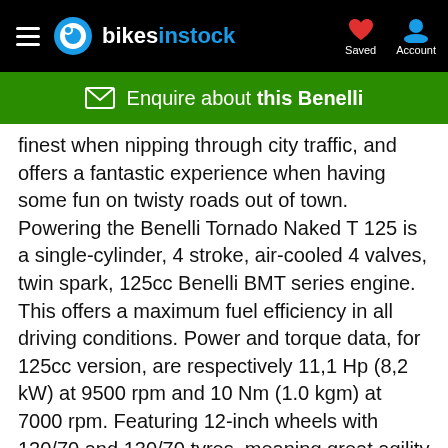bikesinstock — Saved — Account
Enquire about this Benelli
finest when nipping through city traffic, and offers a fantastic experience when having some fun on twisty roads out of town. Powering the Benelli Tornado Naked T 125 is a single-cylinder, 4 stroke, air-cooled 4 valves, twin spark, 125cc Benelli BMT series engine. This offers a maximum fuel efficiency in all driving conditions. Power and torque data, for 125cc version, are respectively 11,1 Hp (8,2 kW) at 9500 rpm and 10 Nm (1.0 kgm) at 7000 rpm. Featuring 12-inch wheels with 120/70 and 130/70 tyres, meaning great agility and stability on the road.
The suspension system of the Benelli Tornado Naked T 125 is entrusted to an upside-down front fork ø 35mm and to a rear swingarm with lateral shock absorber with spring pre-load adjustment. The braking system of